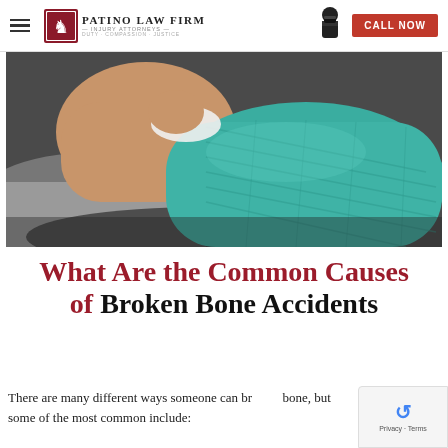Patino Law Firm — Injury Attorneys · Duty Compassion Justice | CALL NOW
[Figure (photo): Close-up photo of a person's foot and lower leg in a teal/green orthopedic cast, resting on a dark surface with gray fabric visible.]
What Are the Common Causes of Broken Bone Accidents
There are many different ways someone can break a bone, but some of the most common include: